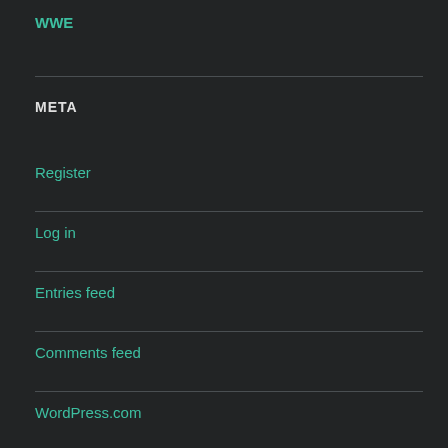WWE
META
Register
Log in
Entries feed
Comments feed
WordPress.com